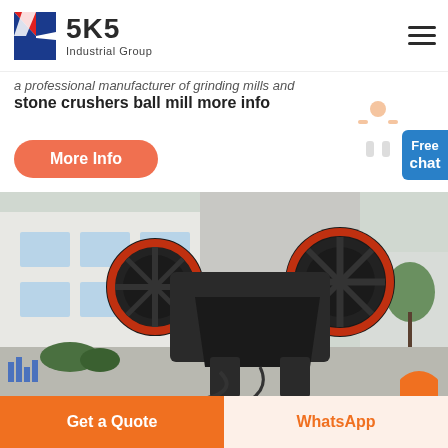[Figure (logo): SKS Industrial Group logo with red and blue K lettermark and bold SKS text]
a professional manufacturer of grinding mills and stone crushers ball mill more info
[Figure (infographic): Orange rounded rectangle button with white text 'More Info']
[Figure (infographic): Blue widget on right edge with white text 'Free chat' and a customer service character image]
[Figure (photo): Large industrial jaw crusher machine photographed outdoors at a factory/industrial site, showing large black flywheels with red trim]
[Figure (infographic): Bottom bar with two buttons: orange 'Get a Quote' button on left and cream/beige 'WhatsApp' button with orange text on right]